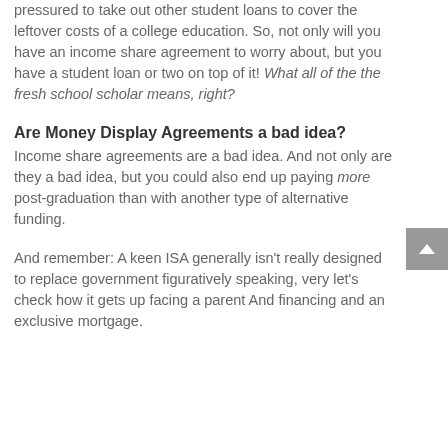pressured to take out other student loans to cover the leftover costs of a college education. So, not only will you have an income share agreement to worry about, but you have a student loan or two on top of it! What all of the the fresh school scholar means, right?
Are Money Display Agreements a bad idea?
Income share agreements are a bad idea. And not only are they a bad idea, but you could also end up paying more post-graduation than with another type of alternative funding.
And remember: A keen ISA generally isn't really designed to replace government figuratively speaking, very let's check how it gets up facing a parent And financing and an exclusive mortgage.